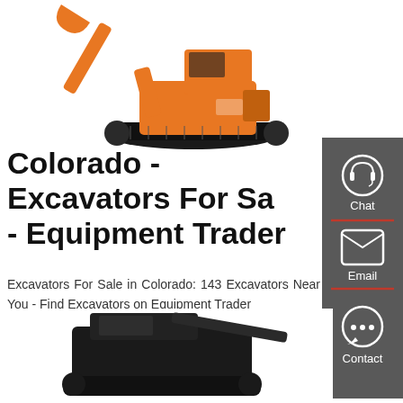[Figure (photo): Orange construction excavator/digger on white background, top portion of image, arm raised]
Colorado - Excavators For Sale - Equipment Trader
Excavators For Sale in Colorado: 143 Excavators Near You - Find Excavators on Equipment Trader
[Figure (infographic): Dark grey sidebar with Chat, Email, and Contact icons. Chat icon is a headset in a circle, Email is an envelope in a square, Contact is speech bubble with dots in a circle. Red dividers between sections.]
[Figure (photo): Black/dark grey construction machine (bulldozer or skid steer) partially visible at bottom of page]
Get a Quote